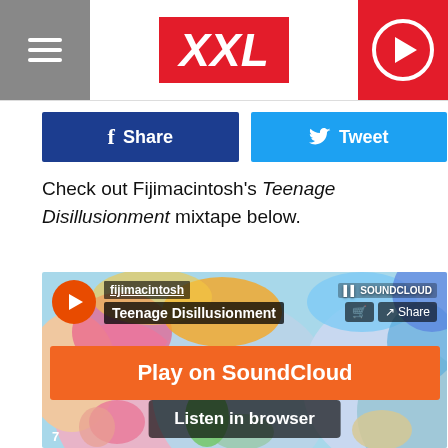XXL
f Share
Tweet
Check out Fijimacintosh's Teenage Disillusionment mixtape below.
[Figure (screenshot): SoundCloud embed player showing fijimacintosh Teenage Disillusionment mixtape with Play on SoundCloud orange button and Listen in browser option, with colorful psychedelic artwork in the background]